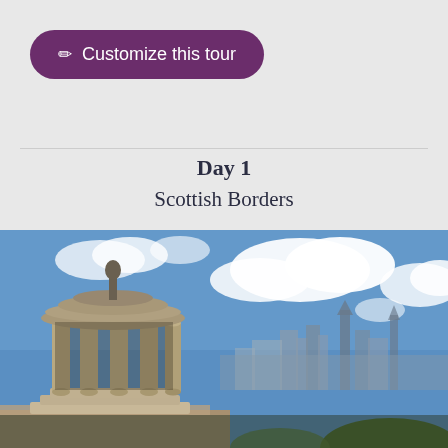✏ Customize this tour
Day 1
Scottish Borders
[Figure (photo): Panoramic view of Edinburgh cityscape with a classical stone rotunda monument in the foreground on the left and the city skyline with church spires under a partly cloudy blue sky in the background.]